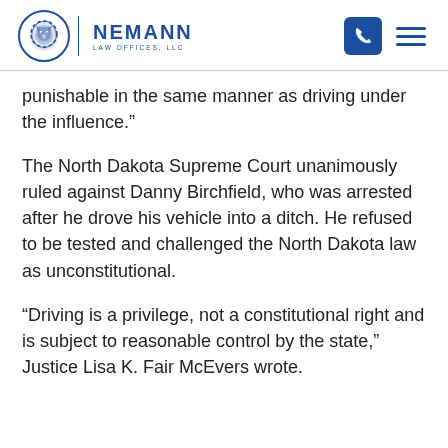Nemann Law Offices
punishable in the same manner as driving under the influence.”
The North Dakota Supreme Court unanimously ruled against Danny Birchfield, who was arrested after he drove his vehicle into a ditch. He refused to be tested and challenged the North Dakota law as unconstitutional.
“Driving is a privilege, not a constitutional right and is subject to reasonable control by the state,” Justice Lisa K. Fair McEvers wrote.